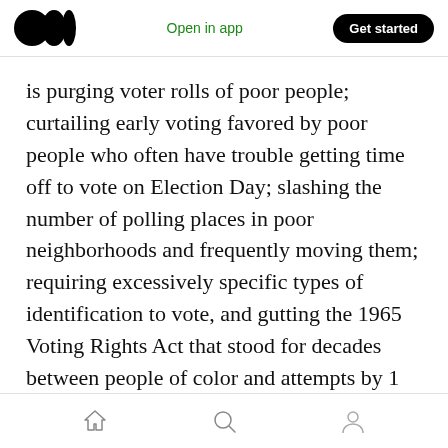Medium logo | Open in app | Get started
is purging voter rolls of poor people; curtailing early voting favored by poor people who often have trouble getting time off to vote on Election Day; slashing the number of polling places in poor neighborhoods and frequently moving them; requiring excessively specific types of identification to vote, and gutting the 1965 Voting Rights Act that stood for decades between people of color and attempts by 1 percenters to deny them their voting rights.
The 1 percent have achieved a great deal,
Home | Search | Profile